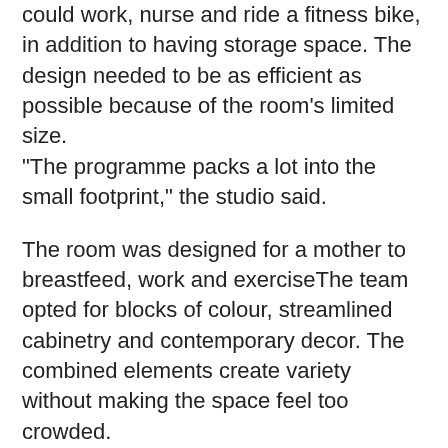could work, nurse and ride a fitness bike, in addition to having storage space. The design needed to be as efficient as possible because of the room's limited size.
"The programme packs a lot into the small footprint," the studio said.

The room was designed for a mother to breastfeed, work and exerciseThe team opted for blocks of colour, streamlined cabinetry and contemporary decor. The combined elements create variety without making the space feel too crowded.
A skylight and slit windows bring in daylight while also offering privacy. Extra illumination is provided by globe-shaped Carina Maxi